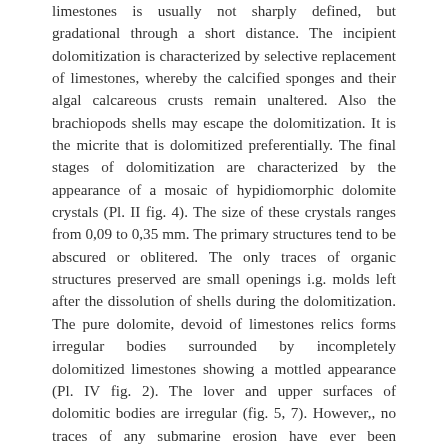limestones is usually not sharply defined, but gradational through a short distance. The incipient dolomitization is characterized by selective replacement of limestones, whereby the calcified sponges and their algal calcareous crusts remain unaltered. Also the brachiopods shells may escape the dolomitization. It is the micrite that is dolomitized preferentially. The final stages of dolomitization are characterized by the appearance of a mosaic of hypidiomorphic dolomite crystals (Pl. II fig. 4). The size of these crystals ranges from 0,09 to 0,35 mm. The primary structures tend to be abscured or oblitered. The only traces of organic structures preserved are small openings i.g. molds left after the dissolution of shells during the dolomitization. The pure dolomite, devoid of limestones relics forms irregular bodies surrounded by incompletely dolomitized limestones showing a mottled appearance (Pl. IV fig. 2). The lover and upper surfaces of dolomitic bodies are irregular (fig. 5, 7). However,, no traces of any submarine erosion have ever been observed along such surfaces. It is of importance to note that early diagenetic siliceous concretions are totally absent in the dolomitized parts of the rock, although they are very abundant in the unaltered limestone (fig. 2). There are also no cavities which would point to dissolution of the preexistent concretions in the limy sediments subjected to